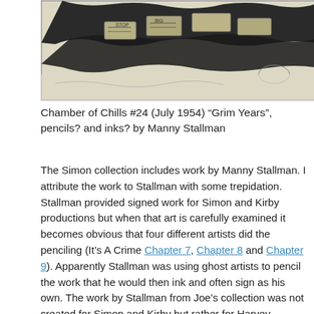[Figure (illustration): Partial scan of a comic book page from Chamber of Chills #24 showing sketched figures with money/bills, pencils and inks style artwork]
Chamber of Chills #24 (July 1954) “Grim Years”, pencils? and inks? by Manny Stallman
The Simon collection includes work by Manny Stallman. I attribute the work to Stallman with some trepidation. Stallman provided signed work for Simon and Kirby productions but when that art is carefully examined it becomes obvious that four different artists did the penciling (It’s A Crime Chapter 7, Chapter 8 and Chapter 9). Apparently Stallman was using ghost artists to pencil the work that he would then ink and often sign as his own. The work by Stallman from Joe’s collection was not created for Simon and Kirby but rather for Harvey Comics. Unfortunately it was unsigned and the pencils done in yet another style so the attribution is very provisional. But whoever penciled and inked the work the final quality was the main...